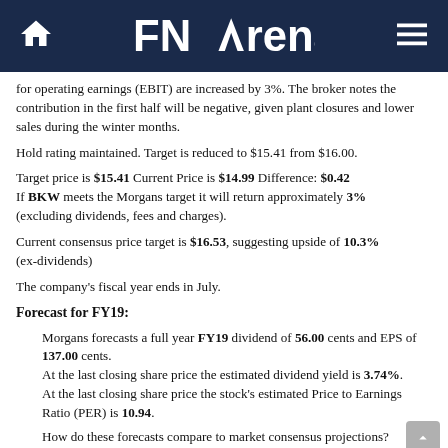FNArena
for operating earnings (EBIT) are increased by 3%. The broker notes the contribution in the first half will be negative, given plant closures and lower sales during the winter months.
Hold rating maintained. Target is reduced to $15.41 from $16.00.
Target price is $15.41 Current Price is $14.99 Difference: $0.42 If BKW meets the Morgans target it will return approximately 3% (excluding dividends, fees and charges).
Current consensus price target is $16.53, suggesting upside of 10.3% (ex-dividends)
The company's fiscal year ends in July.
Forecast for FY19:
Morgans forecasts a full year FY19 dividend of 56.00 cents and EPS of 137.00 cents. At the last closing share price the estimated dividend yield is 3.74%. At the last closing share price the stock's estimated Price to Earnings Ratio (PER) is 10.94.
How do these forecasts compare to market consensus projections?